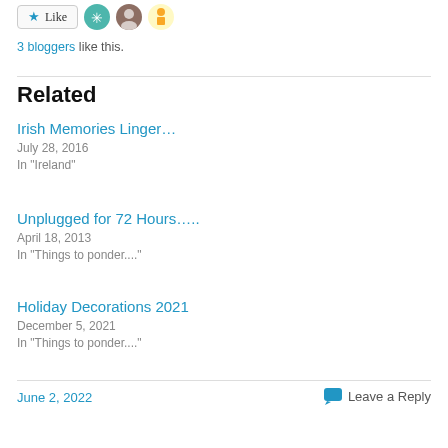[Figure (other): Like button with star icon followed by three blogger avatar icons]
3 bloggers like this.
Related
Irish Memories Linger…
July 28, 2016
In "Ireland"
Unplugged for 72 Hours…..
April 18, 2013
In "Things to ponder...."
Holiday Decorations 2021
December 5, 2021
In "Things to ponder...."
June 2, 2022
Leave a Reply